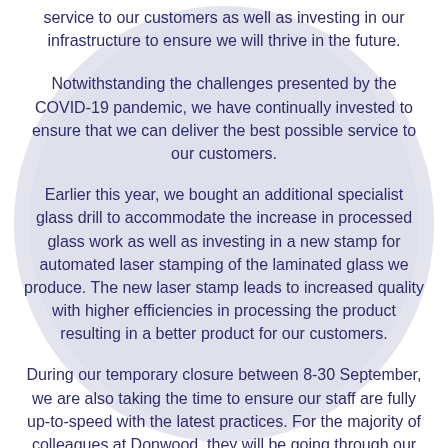service to our customers as well as investing in our infrastructure to ensure we will thrive in the future.
Notwithstanding the challenges presented by the COVID-19 pandemic, we have continually invested to ensure that we can deliver the best possible service to our customers.
Earlier this year, we bought an additional specialist glass drill to accommodate the increase in processed glass work as well as investing in a new stamp for automated laser stamping of the laminated glass we produce. The new laser stamp leads to increased quality with higher efficiencies in processing the product resulting in a better product for our customers.
During our temporary closure between 8-30 September, we are also taking the time to ensure our staff are fully up-to-speed with the latest practices. For the majority of colleagues at Donwood, they will be going through our industry-renowned specific manual handling training as well as topping up their knowledge through several refresher courses.